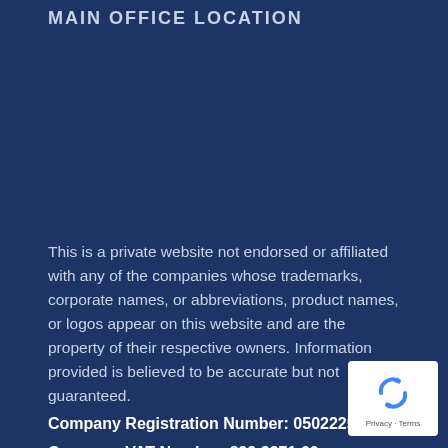MAIN OFFICE LOCATION
This is a private website not endorsed or affiliated with any of the companies whose trademarks, corporate names, or abbreviations, product names, or logos appear on this website and are the property of their respective owners. Information provided is believed to be accurate but not guaranteed.
Company Registration Number: 05022253
Company VAT Number: 899 3371 60
[Figure (logo): reCAPTCHA badge with circular arrow icon and Privacy - Terms text]